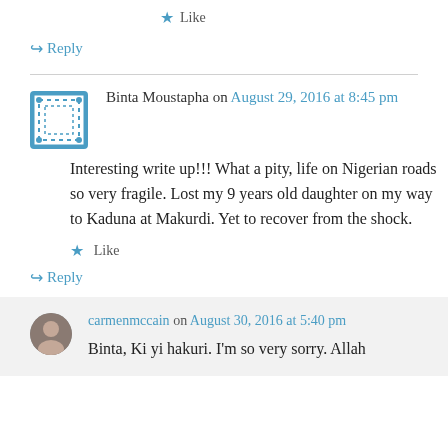★ Like
↪ Reply
Binta Moustapha on August 29, 2016 at 8:45 pm
Interesting write up!!! What a pity, life on Nigerian roads so very fragile. Lost my 9 years old daughter on my way to Kaduna at Makurdi. Yet to recover from the shock.
★ Like
↪ Reply
carmenmccain on August 30, 2016 at 5:40 pm
Binta, Ki yi hakuri. I'm so very sorry. Allah